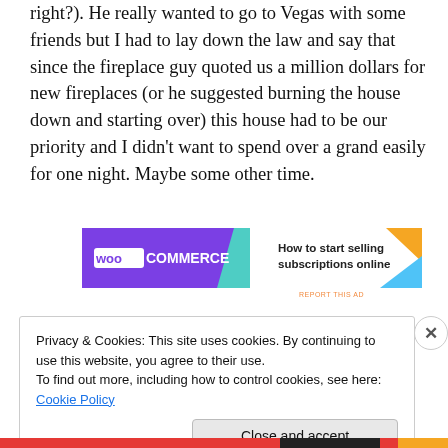right?). He really wanted to go to Vegas with some friends but I had to lay down the law and say that since the fireplace guy quoted us a million dollars for new fireplaces (or he suggested burning the house down and starting over) this house had to be our priority and I didn't want to spend over a grand easily for one night. Maybe some other time.
[Figure (screenshot): WooCommerce advertisement banner: purple left section with WooCommerce logo, white right section with text 'How to start selling subscriptions online' and decorative teal, orange, and blue shapes.]
REPORT THIS AD
Privacy & Cookies: This site uses cookies. By continuing to use this website, you agree to their use.
To find out more, including how to control cookies, see here: Cookie Policy
Close and accept